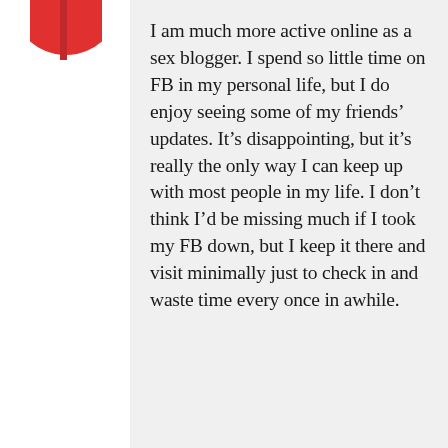[Figure (logo): Partial red circle logo with a vertical red stripe, visible at top-left corner of page]
I am much more active online as a sex blogger. I spend so little time on FB in my personal life, but I do enjoy seeing some of my friends’ updates. It’s disappointing, but it’s really the only way I can keep up with most people in my life. I don’t think I’d be missing much if I took my FB down, but I keep it there and visit minimally just to check in and waste time every once in awhile.